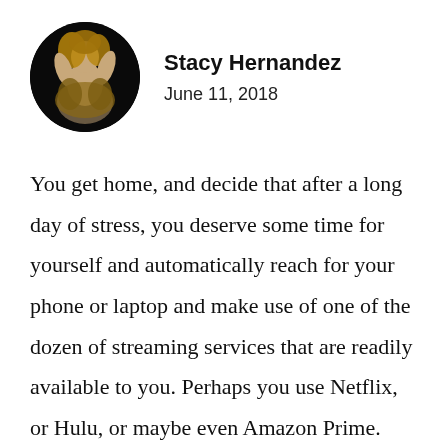[Figure (photo): Circular profile photo of Stacy Hernandez, a person posed in a dark background with fur or feathered clothing.]
Stacy Hernandez
June 11, 2018
You get home, and decide that after a long day of stress, you deserve some time for yourself and automatically reach for your phone or laptop and make use of one of the dozen of streaming services that are readily available to you. Perhaps you use Netflix, or Hulu, or maybe even Amazon Prime. Whatever the source, users of such streaming